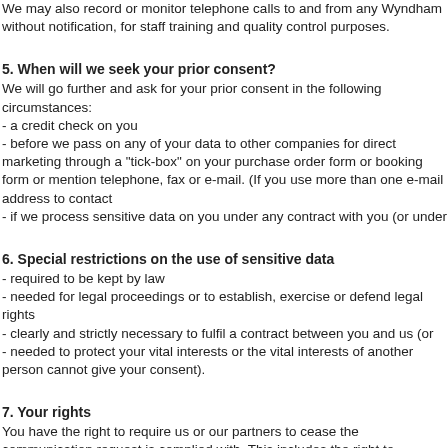We may also record or monitor telephone calls to and from any Wyndham without notification, for staff training and quality control purposes.
5. When will we seek your prior consent?
We will go further and ask for your prior consent in the following circumstances:
- a credit check on you
- before we pass on any of your data to other companies for direct marketing through a "tick-box" on your purchase order form or booking form or mention telephone, fax or e-mail. (If you use more than one e-mail address to contact
- if we process sensitive data on you under any contract with you (or under
6. Special restrictions on the use of sensitive data
- required to be kept by law
- needed for legal proceedings or to establish, exercise or defend legal rights
- clearly and strictly necessary to fulfil a contract between you and us (or
- needed to protect your vital interests or the vital interests of another person cannot give your consent).
7. Your rights
You have the right to require us or our partners to cease the communication request is complied with. This includes the right to withdraw your consent
You have the right to see all the data we hold on you. Should you wish